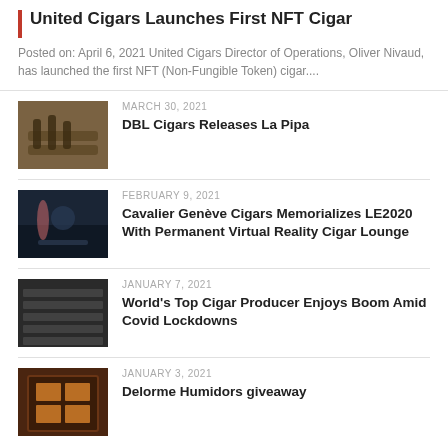United Cigars Launches First NFT Cigar
Posted on: April 6, 2021 United Cigars Director of Operations, Oliver Nivaud, has launched the first NFT (Non-Fungible Token) cigar....
MARCH 30, 2021
[Figure (photo): Photo of cigars in a wooden box/tray]
DBL Cigars Releases La Pipa
FEBRUARY 9, 2021
[Figure (photo): Photo of a dark atmospheric cigar lounge scene]
Cavalier Genève Cigars Memorializes LE2020 With Permanent Virtual Reality Cigar Lounge
JANUARY 7, 2021
[Figure (photo): Close-up photo of cigars]
World's Top Cigar Producer Enjoys Boom Amid Covid Lockdowns
JANUARY 3, 2021
[Figure (photo): Photo of a humidor cabinet with cigars]
Delorme Humidors giveaway